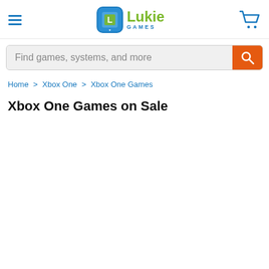[Figure (logo): Lukie Games logo with blue rounded square icon and green/blue text]
Find games, systems, and more
Home > Xbox One > Xbox One Games
Xbox One Games on Sale